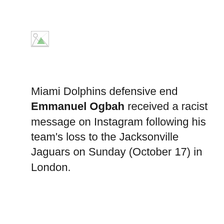[Figure (other): Broken/missing image icon (small thumbnail placeholder with green and white colors)]
Miami Dolphins defensive end Emmanuel Ogbah received a racist message on Instagram following his team's loss to the Jacksonville Jaguars on Sunday (October 17) in London.